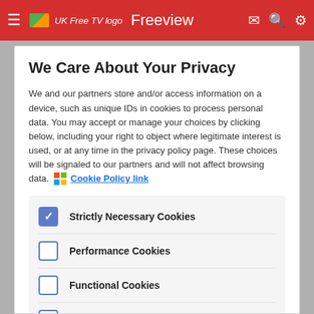≡ UK Free TV logo  Freeview
We Care About Your Privacy
We and our partners store and/or access information on a device, such as unique IDs in cookies to process personal data. You may accept or manage your choices by clicking below, including your right to object where legitimate interest is used, or at any time in the privacy policy page. These choices will be signaled to our partners and will not affect browsing data. Cookie Policy link
Strictly Necessary Cookies (checked)
Performance Cookies (unchecked)
Functional Cookies (unchecked)
Targeting Cookies (unchecked)
List of Partners (vendors)